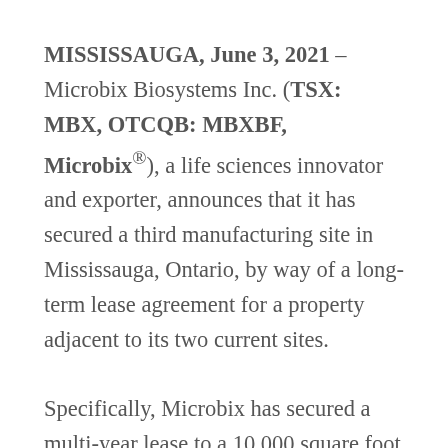MISSISSAUGA, June 3, 2021 – Microbix Biosystems Inc. (TSX: MBX, OTCQB: MBXBF, Microbix®), a life sciences innovator and exporter, announces that it has secured a third manufacturing site in Mississauga, Ontario, by way of a long-term lease agreement for a property adjacent to its two current sites.

Specifically, Microbix has secured a multi-year lease to a 10,000 square foot industrial